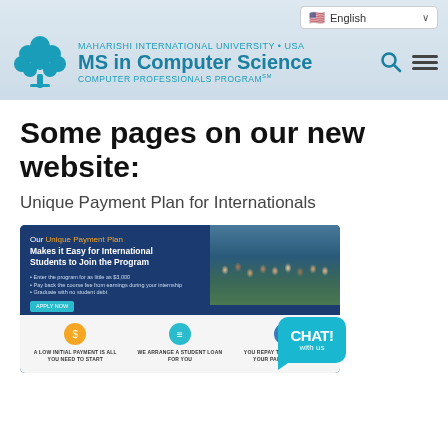[Figure (screenshot): Maharishi International University MS in Computer Science website header with tree logo, language selector, search and menu icons]
Some pages on our new website:
Unique Payment Plan for Internationals
[Figure (screenshot): Screenshot of MIU website page showing Unique Payment Plan for International Students with three icon sections: A Low Initial Payment is All You Need to Start, We Arrange a Student Loan For You, You Repay the Loan During Your Paid Internship]
[Figure (other): CHAT! with us teal chat bubble widget in bottom right corner]